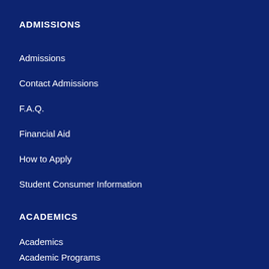ADMISSIONS
Admissions
Contact Admissions
F.A.Q.
Financial Aid
How to Apply
Student Consumer Information
ACADEMICS
Academics
Academic Programs
Registration